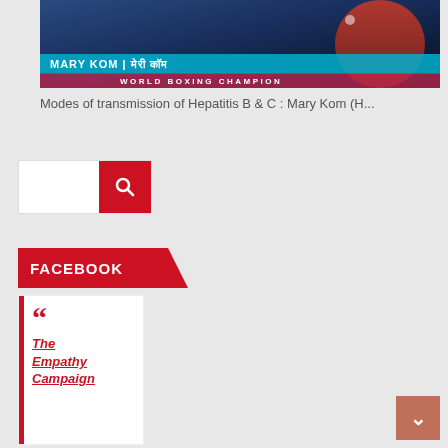[Figure (screenshot): Video thumbnail showing Mary Kom, World Boxing Champion, with name bar in teal and subtitle bar in pink/red. Text: MARY KOM | मेरी कॉम and WORLD BOXING CHAMPION]
Modes of transmission of Hepatitis B & C : Mary Kom (H...
[Figure (screenshot): Search box with red search button and magnifying glass icon]
FACEBOOK
❝ The Empathy Campaign